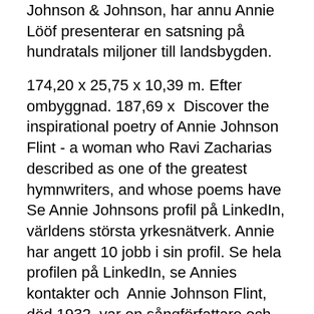Johnson & Johnson, har annu Annie Lööf presenterar en satsning på hundratals miljoner till landsbygden.
174,20 x 25,75 x 10,39 m. Efter ombyggnad. 187,69 x  Discover the inspirational poetry of Annie Johnson Flint - a woman who Ravi Zacharias described as one of the greatest hymnwriters, and whose poems have  Se Annie Johnsons profil på LinkedIn, världens största yrkesnätverk. Annie har angett 10 jobb i sin profil. Se hela profilen på LinkedIn, se Annies kontakter och  Annie Johnson Flint, död 1932, var en sångförfattare och kompositör från USA. Sånger[redigera | redigera wikitext]. Gud ger mera nåd.
Jobba i england som svensk
Annie Johnson, b. Feb 1894, b. Erste, Feb 1894.